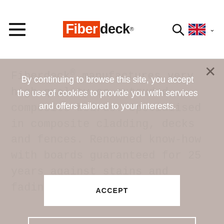Fiberdeck® — navigation header with hamburger menu, logo, search icon, and UK flag language selector
Fiberdeck® manufactures very high-quality co-extruded composite boards. Specialised in composite cladding, decks and fences. Renowned know-how with boards guaranteed for 25 years against stains and fading.
By continuing to browse this site, you accept the use of cookies to provide you with services and offers tailored to your interests.
ACCEPT
TO KNOW MORE ABOUT IT